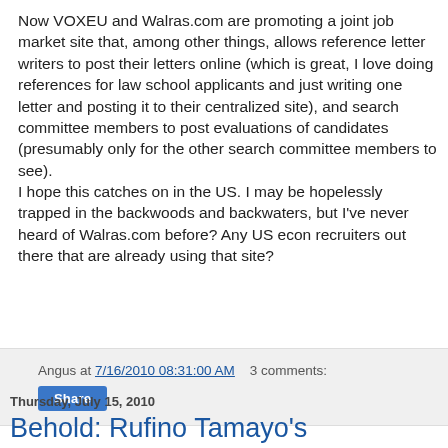Now VOXEU and Walras.com are promoting a joint job market site that, among other things, allows reference letter writers to post their letters online (which is great, I love doing references for law school applicants and just writing one letter and posting it to their centralized site), and search committee members to post evaluations of candidates (presumably only for the other search committee members to see).
I hope this catches on in the US. I may be hopelessly trapped in the backwoods and backwaters, but I've never heard of Walras.com before? Any US econ recruiters out there that are already using that site?
Angus at 7/16/2010 08:31:00 AM   3 comments:
Share
Thursday, July 15, 2010
Behold: Rufino Tamayo's granchildren!